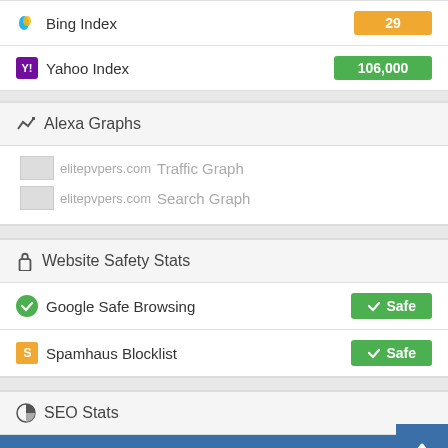Bing Index: 29
Yahoo Index: 106,000
Alexa Graphs
[Figure (screenshot): Alexa Traffic Graph placeholder image for elitepvpers.com]
[Figure (screenshot): Alexa Search Graph placeholder image for elitepvpers.com]
Website Safety Stats
Google Safe Browsing: Safe
Spamhaus Blocklist: Safe
SEO Stats
| Source | Stats |
| --- | --- |